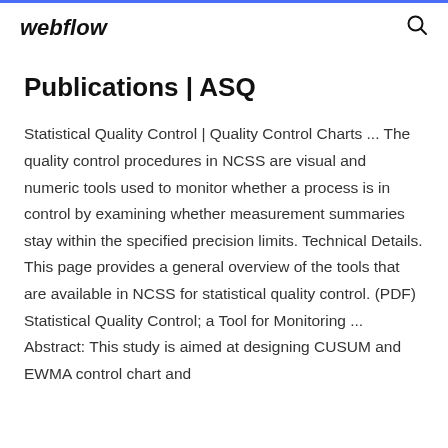webflow
Publications | ASQ
Statistical Quality Control | Quality Control Charts ... The quality control procedures in NCSS are visual and numeric tools used to monitor whether a process is in control by examining whether measurement summaries stay within the specified precision limits. Technical Details. This page provides a general overview of the tools that are available in NCSS for statistical quality control. (PDF) Statistical Quality Control; a Tool for Monitoring ... Abstract: This study is aimed at designing CUSUM and EWMA control chart and